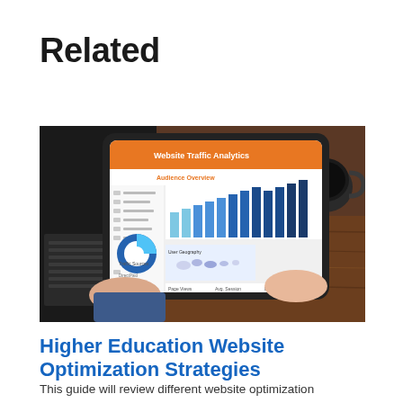Related
[Figure (photo): Person holding a tablet displaying a Website Traffic Analytics dashboard with bar charts, donut chart, and world map, with a laptop and coffee mug visible on a wooden desk in the background.]
Higher Education Website Optimization Strategies
This guide will review different website optimization